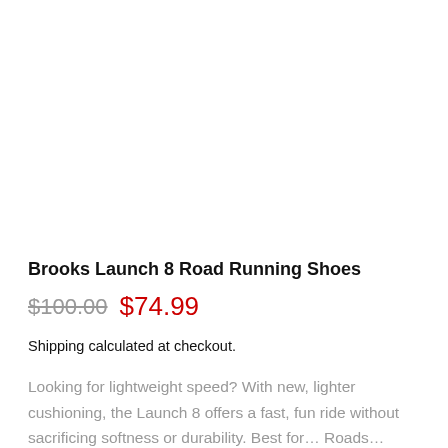Brooks Launch 8 Road Running Shoes
$100.00  $74.99
Shipping calculated at checkout.
Looking for lightweight speed? With new, lighter cushioning, the Launch 8 offers a fast, fun ride without sacrificing softness or durability. Best for… Roads… Read more